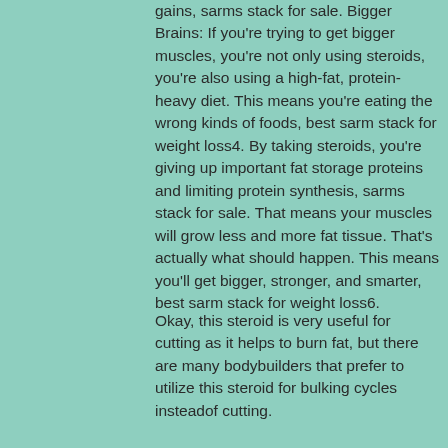gains, sarms stack for sale. Bigger Brains: If you're trying to get bigger muscles, you're not only using steroids, you're also using a high-fat, protein-heavy diet. This means you're eating the wrong kinds of foods, best sarm stack for weight loss4. By taking steroids, you're giving up important fat storage proteins and limiting protein synthesis, sarms stack for sale. That means your muscles will grow less and more fat tissue. That's actually what should happen. This means you'll get bigger, stronger, and smarter, best sarm stack for weight loss6.
Okay, this steroid is very useful for cutting as it helps to burn fat, but there are many bodybuilders that prefer to utilize this steroid for bulking cycles insteadof cutting.